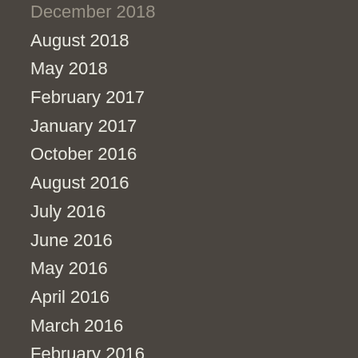December 2018
August 2018
May 2018
February 2017
January 2017
October 2016
August 2016
July 2016
June 2016
May 2016
April 2016
March 2016
February 2016
January 2016
December 2015
October 2015
September 2015